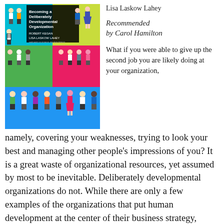[Figure (illustration): Book cover of 'Becoming a Deliberately Developmental Organization' by Robert Kegan and Lisa Laskow Lahey, published by Harvard Business Review Press. Cover shows illustrated cartoon people figures on a colorful grid background.]
Lisa Laskow Lahey
Recommended by Carol Hamilton
What if you were able to give up the second job you are likely doing at your organization, namely, covering your weaknesses, trying to look your best and managing other people's impressions of you? It is a great waste of organizational resources, yet assumed by most to be inevitable. Deliberately developmental organizations do not. While there are only a few examples of the organizations that put human development at the center of their business strategy, seeing it as one and the same rather than an either/or trade-off, these organizations create intentional cultures that center on adult